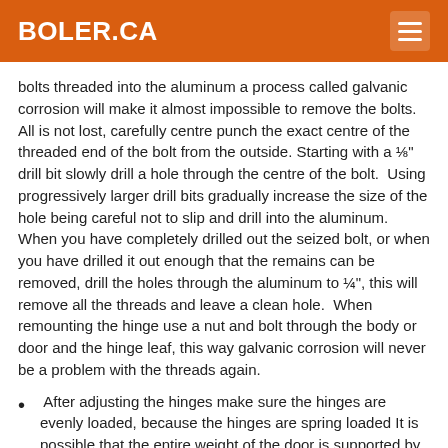BOLER.CA
bolts threaded into the aluminum a process called galvanic corrosion will make it almost impossible to remove the bolts. All is not lost, carefully centre punch the exact centre of the threaded end of the bolt from the outside. Starting with a ⅛" drill bit slowly drill a hole through the centre of the bolt.  Using progressively larger drill bits gradually increase the size of the hole being careful not to slip and drill into the aluminum. When you have completely drilled out the seized bolt, or when you have drilled it out enough that the remains can be removed, drill the holes through the aluminum to ¼", this will remove all the threads and leave a clean hole.  When remounting the hinge use a nut and bolt through the body or door and the hinge leaf, this way galvanic corrosion will never be a problem with the threads again.
After adjusting the hinges make sure the hinges are evenly loaded, because the hinges are spring loaded It is possible that the entire weight of the door is supported by one hinge. The test open the door about 6" then grasp the door and by the latch side and lift it up and down, there should not be any